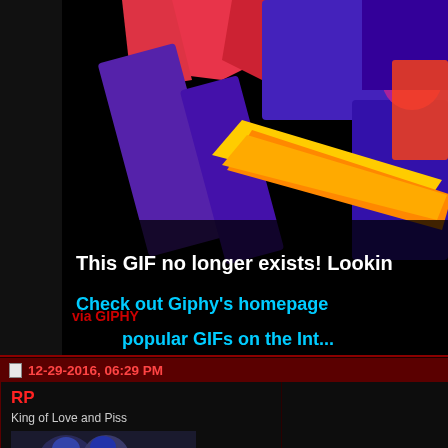[Figure (screenshot): Giphy broken GIF placeholder image showing colorful abstract art with text 'This GIF no longer exists! Looking...' in white and 'Check out Giphy's homepage ... popular GIFs on the Int...' in cyan on black background]
via GIPHY
12-29-2016, 06:29 PM
RP
King of Love and Piss
[Figure (photo): User avatar photo showing football players on field]